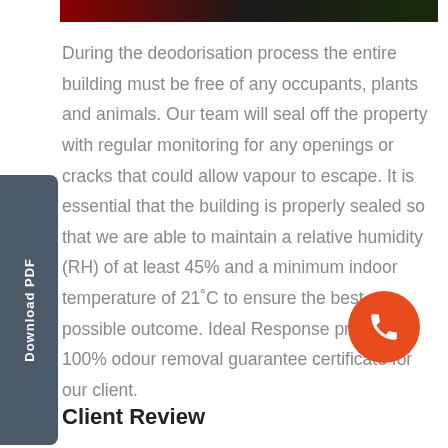[Figure (photo): Dark image bar at top with red and green bokeh lights on dark background]
During the deodorisation process the entire building must be free of any occupants, plants and animals. Our team will seal off the property with regular monitoring for any openings or cracks that could allow vapour to escape. It is essential that the building is properly sealed so that we are able to maintain a relative humidity (RH) of at least 45% and a minimum indoor temperature of 21˚C to ensure the best possible outcome. Ideal Response provided a 100% odour removal guarantee certificate for our client.
[Figure (other): Orange circular phone/call button icon]
Client Review